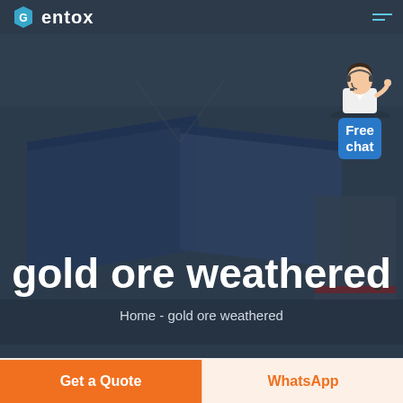Gentox (logo) — navigation bar with hamburger menu
[Figure (photo): Aerial view of a large industrial factory complex with blue-roofed warehouses, surrounded by open land. A female customer service representative avatar is shown in the top-right corner with a 'Free chat' button below her.]
gold ore weathered
Home  -  gold ore weathered
Get a Quote
WhatsApp